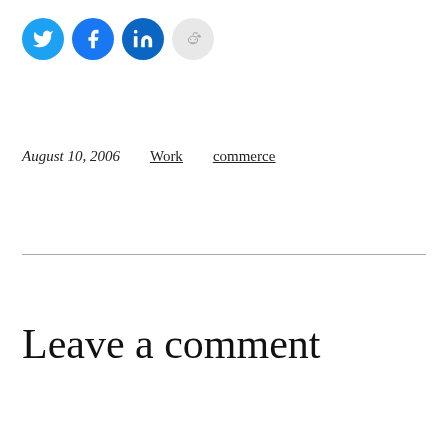[Figure (illustration): Four social media share buttons as circles: Twitter (blue), Facebook (blue), LinkedIn (blue), Reddit (light grey)]
August 10, 2006    Work    commerce
Leave a comment